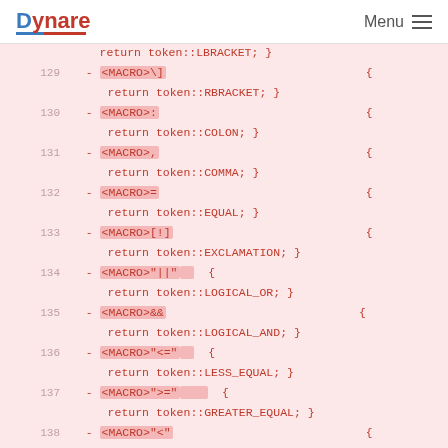Dynare  Menu
return token::LBRACKET; }
129   - <MACRO>\]     {  return token::RBRACKET; }
130   - <MACRO>:      {  return token::COLON; }
131   - <MACRO>,      {  return token::COMMA; }
132   - <MACRO>=      {  return token::EQUAL; }
133   - <MACRO>[!]    {  return token::EXCLAMATION; }
134   - <MACRO>"||"  {  return token::LOGICAL_OR; }
135   - <MACRO>&&     {  return token::LOGICAL_AND; }
136   - <MACRO>"<="  {  return token::LESS_EQUAL; }
137   - <MACRO>">="  {  return token::GREATER_EQUAL; }
138   - <MACRO>"<"   {